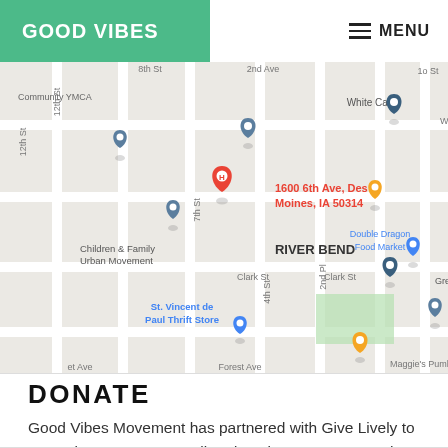GOOD VIBES | MENU
[Figure (map): Google Maps view showing 1600 6th Ave, Des Moines, IA 50314 with surrounding area including Children & Family Urban Movement, St. Vincent de Paul Thrift Store, Double Dragon Food Market, White Cap, River Bend neighborhood, and other nearby landmarks.]
DONATE
Good Vibes Movement has partnered with Give Lively to securely process your online donation. You can use the quick-donate form below or visit our Give Lively page for more options and information.